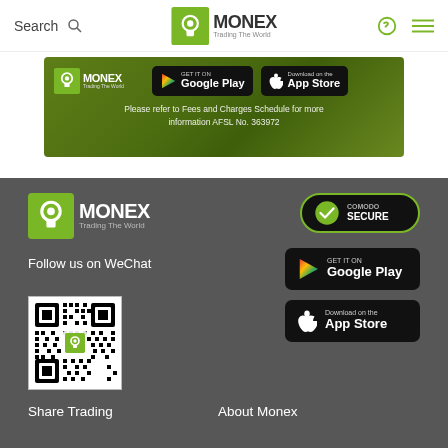Search | MONEX Trading The World
[Figure (screenshot): Monex Trading The World banner with Google Play and App Store buttons, text: Please refer to Fees and Charges Schedule for more information AFSL No. 363972]
[Figure (logo): MONEX Trading The World footer logo]
[Figure (logo): Comodo Secure badge]
Follow us on WeChat
[Figure (other): Google Play store button]
[Figure (other): App Store download button]
[Figure (other): WeChat QR code with Monex logo]
Share Trading
About Monex